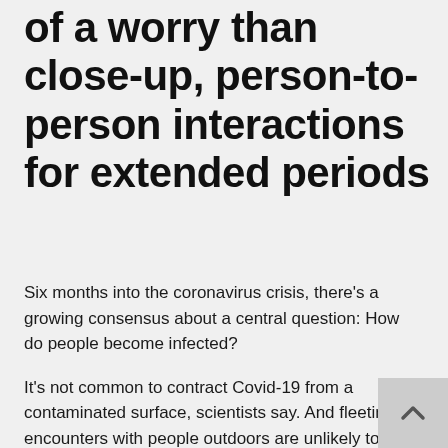of a worry than close-up, person-to-person interactions for extended periods
Six months into the coronavirus crisis, there's a growing consensus about a central question: How do people become infected?
It's not common to contract Covid-19 from a contaminated surface, scientists say. And fleeting encounters with people outdoors are unlikely to spread the coronavirus.
Instead, the major culprit is close-up, person-to-person interactions for extended periods. Crowded events, poorly ventilated areas and places where people are talking loudly—or